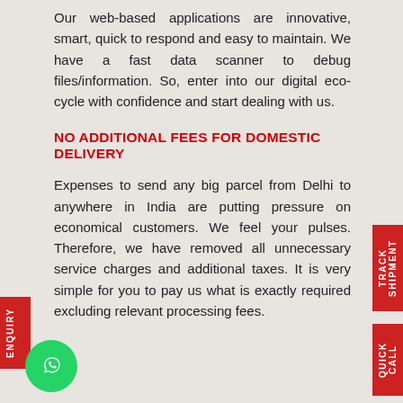Our web-based applications are innovative, smart, quick to respond and easy to maintain. We have a fast data scanner to debug files/information. So, enter into our digital eco-cycle with confidence and start dealing with us.
NO ADDITIONAL FEES FOR DOMESTIC DELIVERY
Expenses to send any big parcel from Delhi to anywhere in India are putting pressure on economical customers. We feel your pulses. Therefore, we have removed all unnecessary service charges and additional taxes. It is very simple for you to pay us what is exactly required excluding relevant processing fees.
[Figure (other): WhatsApp contact button - green circular button with phone/chat icon]